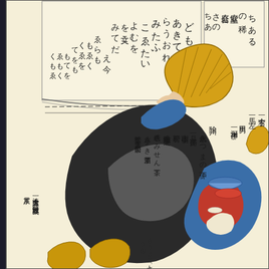[Figure (illustration): Japanese woodblock print (ukiyo-e) showing a figure holding a large fan, seated with bowls and objects, with vertical columns of Japanese calligraphic text (likely advertisement or announcement text) arranged around the illustration. The figure wears a blue kimono with red accents. Text panels appear at the top in bordered boxes and throughout the image space.]